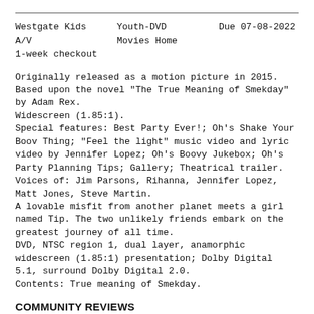Westgate Kids A/V 1-week checkout | Youth-DVD Movies Home | Due 07-08-2022
Originally released as a motion picture in 2015.
Based upon the novel "The True Meaning of Smekday" by Adam Rex.
Widescreen (1.85:1).
Special features: Best Party Ever!; Oh's Shake Your Boov Thing; "Feel the light" music video and lyric video by Jennifer Lopez; Oh's Boovy Jukebox; Oh's Party Planning Tips; Gallery; Theatrical trailer.
Voices of: Jim Parsons, Rihanna, Jennifer Lopez, Matt Jones, Steve Martin.
A lovable misfit from another planet meets a girl named Tip. The two unlikely friends embark on the greatest journey of all time.
DVD, NTSC region 1, dual layer, anamorphic widescreen (1.85:1) presentation; Dolby Digital 5.1, surround Dolby Digital 2.0.
Contents: True meaning of Smekday.
COMMUNITY REVIEWS